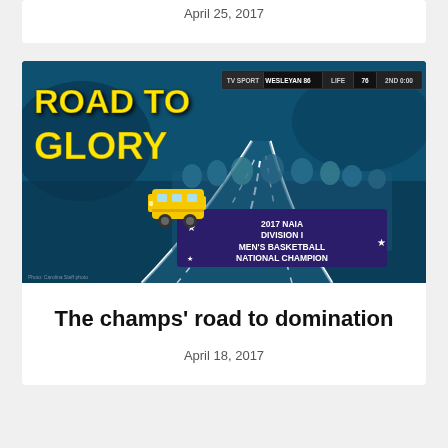April 25, 2017
[Figure (photo): Road to Glory graphic featuring a basketball championship team photo with banner reading '2017 NAIA Division I Men's Basketball National Champion', overlaid with a road graphic, school bus emoji, and scoreboard showing Wesleyan 86, Life 76, 2nd 0:00]
The champs’ road to domination
April 18, 2017